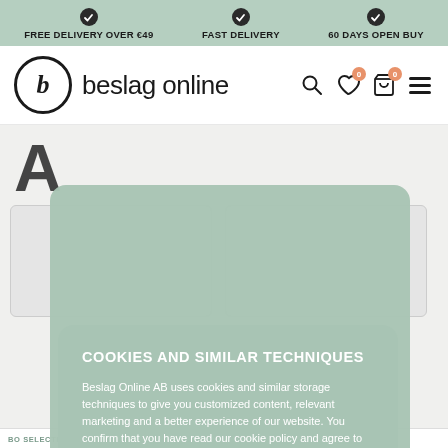FREE DELIVERY OVER €49   FAST DELIVERY   60 DAYS OPEN BUY
[Figure (screenshot): beslag online logo with circular B icon and navigation icons]
COOKIES AND SIMILAR TECHNIQUES
Beslag Online AB uses cookies and similar storage techniques to give you customized content, relevant marketing and a better experience of our website. You confirm that you have read our cookie policy and agree to our use of cookies by clicking on 'Close and accept'. You can at any time check which cookies are saved in your browser under 'Settings'. You can read more about our Privacy Policy and about cookies in our cookie policy.
SETTINGS
CLOSE AND ACCEPT
BO SELECTION
BESLAG DESIGN
Self-adhesive 3M-tape